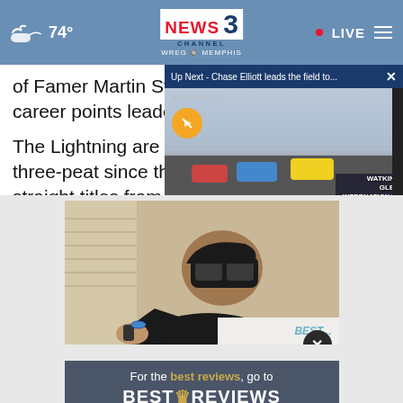74° NEWS CHANNEL 3 WREG MEMPHIS • LIVE
of Famer Martin St. L... career points leader w...
The Lightning are tryi... three-peat since the I... straight titles from 1...
[Figure (screenshot): Video overlay showing Up Next - Chase Elliott leads the field to... with NASCAR race footage at Watkins Glen International, Ad 1 of 1 (0:30), mute button visible]
[Figure (photo): Person wearing VR headset sitting on a bed/couch, holding a controller, wearing a dark long-sleeve shirt. BEST text visible in background.]
For the best reviews, go to BESTREVIEWS